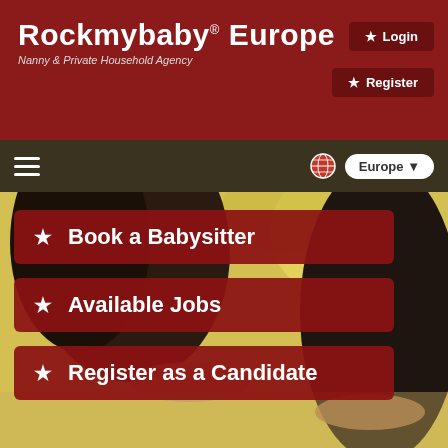Rockmybaby® Europe — Nanny & Private Household Agency
Login
Register
[Figure (screenshot): Navigation bar with hamburger menu icon, globe icon, and Europe region selector dropdown]
[Figure (photo): Two girls blowing dandelion seeds on a bokeh background]
★ Book a Babysitter
★ Available Jobs
★ Register as a Candidate